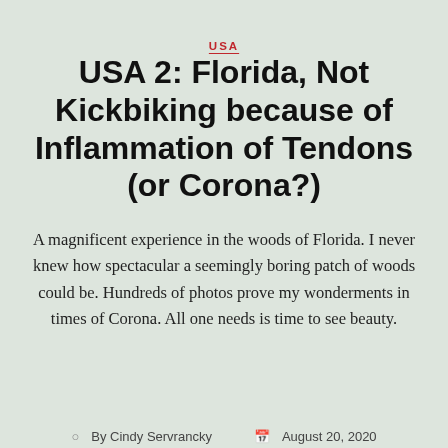USA
USA 2: Florida, Not Kickbiking because of Inflammation of Tendons (or Corona?)
A magnificent experience in the woods of Florida. I never knew how spectacular a seemingly boring patch of woods could be. Hundreds of photos prove my wonderments in times of Corona. All one needs is time to see beauty.
By Cindy Servrancky   August 20, 2020